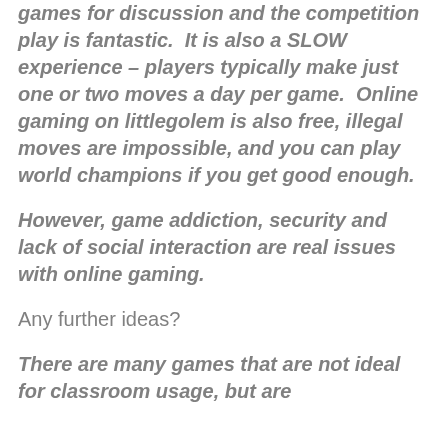games for discussion and the competition play is fantastic.  It is also a SLOW experience – players typically make just one or two moves a day per game.  Online gaming on littlegolem is also free, illegal moves are impossible, and you can play world champions if you get good enough.
However, game addiction, security and lack of social interaction are real issues with online gaming.
Any further ideas?
There are many games that are not ideal for classroom usage, but are